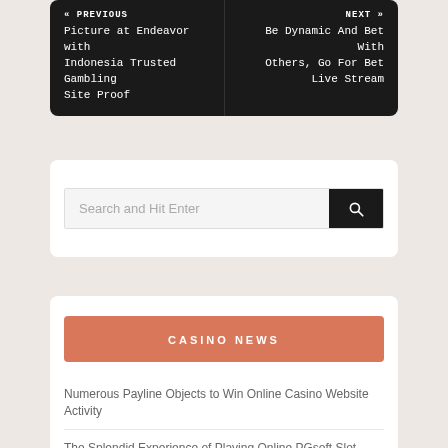« PREVIOUS
Picture at Endeavor with Indonesia Trusted Gambling Site Proof
NEXT »
Be Dynamic And Bet With Others, Go For Bet Live Stream
Search and Hit Enter
CASINO NEWS
Numerous Payline Objects to Win Online Casino Website Activity
The Splendid Experience of Playing Online PGsoft Slot Games
The Different Extent of Bitcoin casino Games open for you to